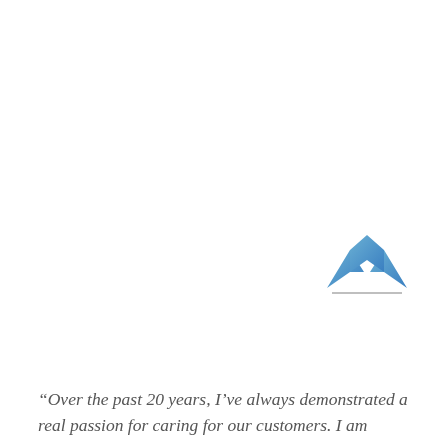[Figure (logo): A blue chevron/upward arrow logo mark with a thin horizontal line beneath it, representing an insurance or financial company brand logo.]
“Over the past 20 years, I’ve always demonstrated a real passion for caring for our customers. I am